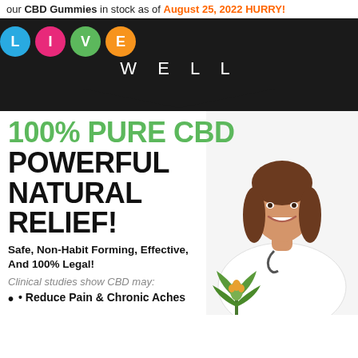our CBD Gummies in stock as of August 25, 2022 HURRY!
[Figure (logo): Live Well logo with four colored circles (blue L, pink I, green V, orange E) and text WELL below on dark background]
100% PURE CBD POWERFUL NATURAL RELIEF!
Safe, Non-Habit Forming, Effective, And 100% Legal!
Clinical studies show CBD may:
[Figure (photo): Smiling woman in white coat with cannabis plant, overlaid on right side of page]
Reduce Pain & Chronic Aches